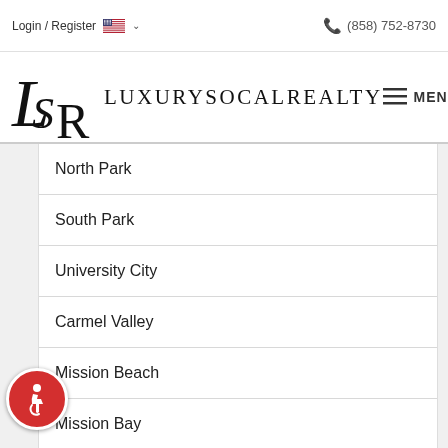Login / Register  (858) 752-8730
[Figure (logo): LuxurySoCalRealty logo with stylized LSR letters and company name in serif uppercase. MENU hamburger icon on right.]
North Park
South Park
University City
Carmel Valley
Mission Beach
Mission Bay
Bay Park
Bay Ho